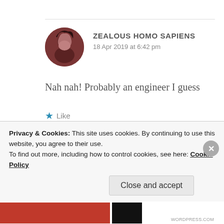ZEALOUS HOMO SAPIENS
18 Apr 2019 at 6:42 pm
Nah nah! Probably an engineer I guess
Like
Privacy & Cookies: This site uses cookies. By continuing to use this website, you agree to their use.
To find out more, including how to control cookies, see here: Cookie Policy
Close and accept